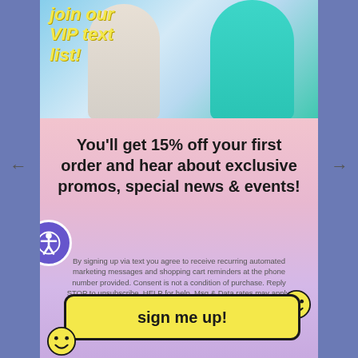[Figure (photo): Two women posing outdoors against a blue sky background, one in a light grey outfit and one in a teal/turquoise outfit, with yellow italic bold text 'join our VIP text list!' overlaid in the top-left corner]
You'll get 15% off your first order and hear about exclusive promos, special news & events!
By signing up via text you agree to receive recurring automated marketing messages and shopping cart reminders at the phone number provided. Consent is not a condition of purchase. Reply STOP to unsubscribe. HELP for help. Msg & Data rates may apply. View Privacy Policy & ToS
sign me up!